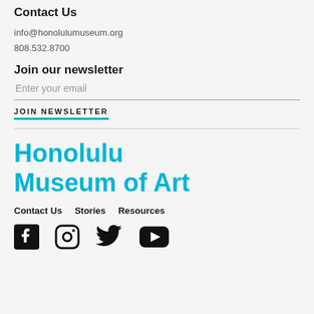Contact Us
info@honolulumuseum.org
808.532.8700
Join our newsletter
Enter your email
JOIN NEWSLETTER
Honolulu Museum of Art
Contact Us   Stories   Resources
[Figure (other): Social media icons: Facebook, Instagram, Twitter, YouTube]